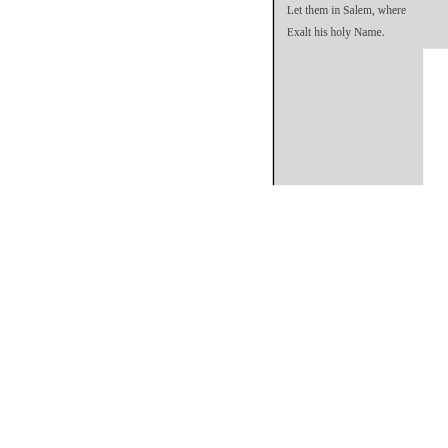Let them in Salem, where
Exalt his holy Name.
3 By his almighty hand
Amazing works are wro
The heavens by his comm
Were to perfection brou
For God &c.
4 He spread the ocean rou